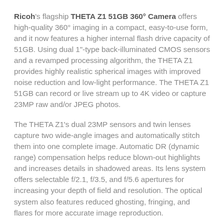Ricoh's flagship THETA Z1 51GB 360° Camera offers high-quality 360° imaging in a compact, easy-to-use form, and it now features a higher internal flash drive capacity of 51GB. Using dual 1"-type back-illuminated CMOS sensors and a revamped processing algorithm, the THETA Z1 provides highly realistic spherical images with improved noise reduction and low-light performance. The THETA Z1 51GB can record or live stream up to 4K video or capture 23MP raw and/or JPEG photos.
The THETA Z1's dual 23MP sensors and twin lenses capture two wide-angle images and automatically stitch them into one complete image. Automatic DR (dynamic range) compensation helps reduce blown-out highlights and increases details in shadowed areas. Its lens system offers selectable f/2.1, f/3.5, and f/5.6 apertures for increasing your depth of field and resolution. The optical system also features reduced ghosting, fringing, and flares for more accurate image reproduction.
Video capture has been improved, with 3-axis image stabilization for smoother shots and built-in microphones for capturing audio from four independent directions for realistic sound. Take